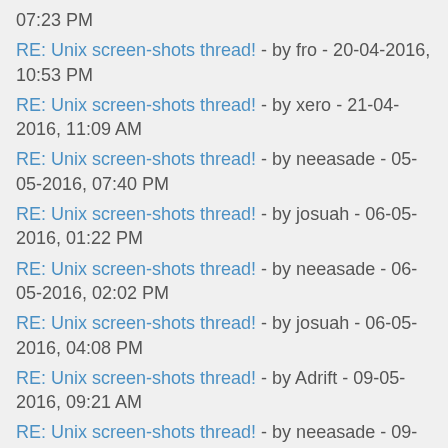07:23 PM
RE: Unix screen-shots thread! - by fro - 20-04-2016, 10:53 PM
RE: Unix screen-shots thread! - by xero - 21-04-2016, 11:09 AM
RE: Unix screen-shots thread! - by neeasade - 05-05-2016, 07:40 PM
RE: Unix screen-shots thread! - by josuah - 06-05-2016, 01:22 PM
RE: Unix screen-shots thread! - by neeasade - 06-05-2016, 02:02 PM
RE: Unix screen-shots thread! - by josuah - 06-05-2016, 04:08 PM
RE: Unix screen-shots thread! - by Adrift - 09-05-2016, 09:21 AM
RE: Unix screen-shots thread! - by neeasade - 09-05-2016, 10:03 AM
RE: Unix screen-shots thread! - by tudurom - 09-05-2016, 11:50 AM
RE: Unix screen-shots thread! - by neeasade - 09-05-2016, 11:58 AM
RE: Unix screen-shots thread! - by tudurom - 11-05-2016